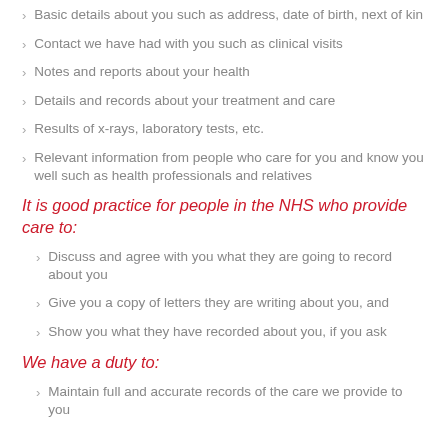Basic details about you such as address, date of birth, next of kin
Contact we have had with you such as clinical visits
Notes and reports about your health
Details and records about your treatment and care
Results of x-rays, laboratory tests, etc.
Relevant information from people who care for you and know you well such as health professionals and relatives
It is good practice for people in the NHS who provide care to:
Discuss and agree with you what they are going to record about you
Give you a copy of letters they are writing about you, and
Show you what they have recorded about you, if you ask
We have a duty to:
Maintain full and accurate records of the care we provide to you